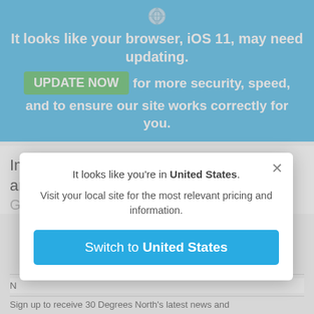[Figure (screenshot): Browser icon (compass/shield style) at top center of blue banner]
It looks like your browser, iOS 11, may need updating.
UPDATE NOW  for more security, speed, and to ensure our site works correctly for you.
Image credits: Kolbjørn Hoseth Larssen and
It looks like you're in United States.
Visit your local site for the most relevant pricing and information.
Switch to United States
Sign up to receive 30 Degrees North's latest news and